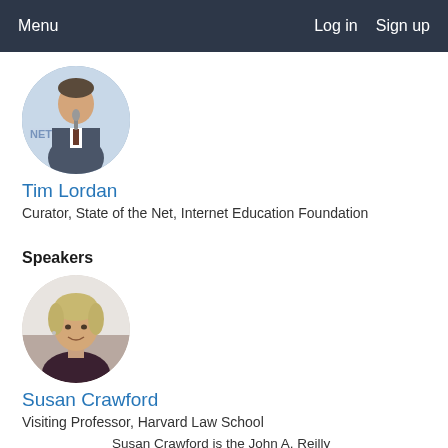Menu   Log in   Sign up
[Figure (photo): Circular profile photo of Tim Lordan, a man in a suit speaking at a podium with 'NET' visible in background]
Tim Lordan
Curator, State of the Net, Internet Education Foundation
Speakers
[Figure (photo): Circular profile photo of Susan Crawford, a woman with short blonde hair and a dark jacket]
Susan Crawford
Visiting Professor, Harvard Law School
Susan Crawford is the John A. Reilly